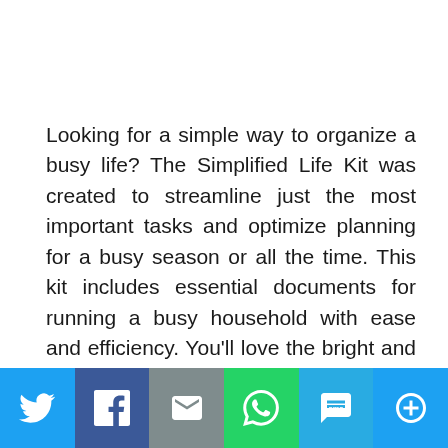Looking for a simple way to organize a busy life? The Simplified Life Kit was created to streamline just the most important tasks and optimize planning for a busy season or all the time. This kit includes essential documents for running a busy household with ease and efficiency. You'll love the bright and bold color scheme and streamlined information in this attractive kit. This kit coordinates perfectly with other Simplified Life items.
[Figure (other): Social sharing bar with icons for Twitter, Facebook, Email, WhatsApp, SMS, and More]